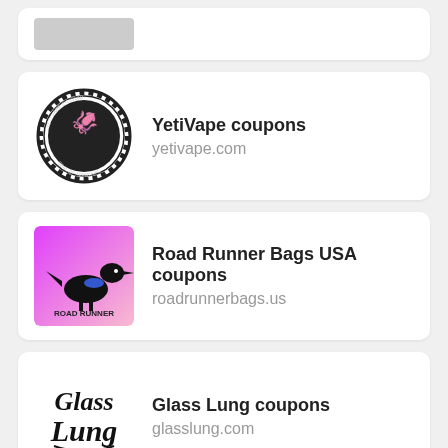[Figure (logo): Partially visible card at top with a grey placeholder logo]
YetiVape coupons
yetivape.com
Road Runner Bags USA coupons
roadrunnerbags.us
Glass Lung coupons
glasslung.com
Giddy Up Glamour coupons
giddy-up-glamour-2.myshopify.com